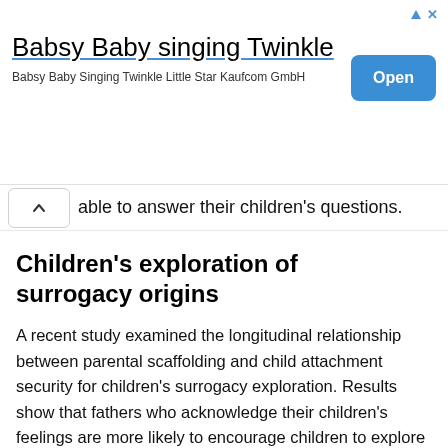[Figure (other): Advertisement banner for 'Babsy Baby singing Twinkle' app by Kaufcom GmbH with an Open button]
able to answer their children's questions.
Children's exploration of surrogacy origins
A recent study examined the longitudinal relationship between parental scaffolding and child attachment security for children's surrogacy exploration. Results show that fathers who acknowledge their children's feelings are more likely to encourage children to explore surrogacy origins. Parental support is also associated with children's perception of higher attachment